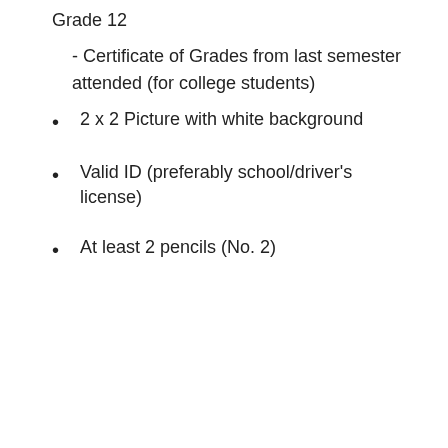Grade 12
- Certificate of Grades from last semester attended (for college students)
2 x 2 Picture with white background
Valid ID (preferably school/driver's license)
At least 2 pencils (No. 2)